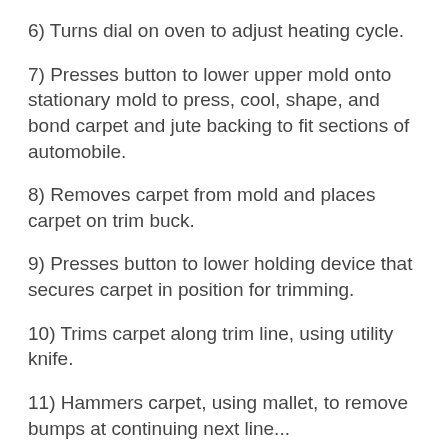6) Turns dial on oven to adjust heating cycle.
7) Presses button to lower upper mold onto stationary mold to press, cool, shape, and bond carpet and jute backing to fit sections of automobile.
8) Removes carpet from mold and places carpet on trim buck.
9) Presses button to lower holding device that secures carpet in position for trimming.
10) Trims carpet along trim line, using utility knife.
11) Hammers carpet, using mallet, to remove bumps at continuing next line...